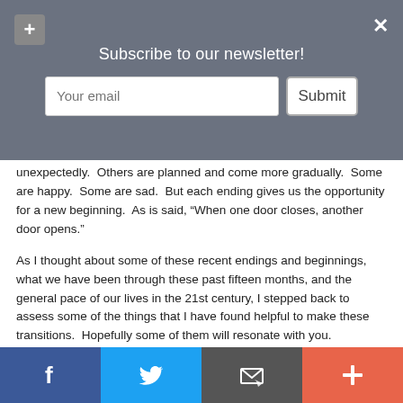[Figure (screenshot): Newsletter subscribe banner with email input field and Submit button on gray background, with plus icon top-left and X close icon top-right]
unexpectedly.  Others are planned and come more gradually.  Some are happy.  Some are sad.  But each ending gives us the opportunity for a new beginning.  As is said, “When one door closes, another door opens.”
As I thought about some of these recent endings and beginnings, what we have been through these past fifteen months, and the general pace of our lives in the 21st century, I stepped back to assess some of the things that I have found helpful to make these transitions.  Hopefully some of them will resonate with you.
Make time to reflect and be thankful for what is ending.  Be grateful for what was learned and what was accomplished.
Make time to celebrate the new beginning and what we have to look forward to.
Recognize there are things about endings and beginnings that we
[Figure (screenshot): Social media share bar with Facebook (blue), Twitter (light blue), email/share (dark gray), and plus (orange-red) buttons]